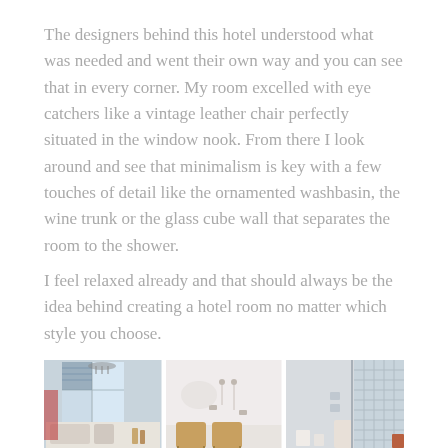The designers behind this hotel understood what was needed and went their own way and you can see that in every corner. My room excelled with eye catchers like a vintage leather chair perfectly situated in the window nook. From there I look around and see that minimalism is key with a few touches of detail like the ornamented washbasin, the wine trunk or the glass cube wall that separates the room to the shower.
I feel relaxed already and that should always be the idea behind creating a hotel room no matter which style you choose.
[Figure (photo): Three hotel room photos side by side: left shows a bright room with large windows and chandelier, middle shows a white wall with chairs, right shows a glass cube wall partition near a shower area.]